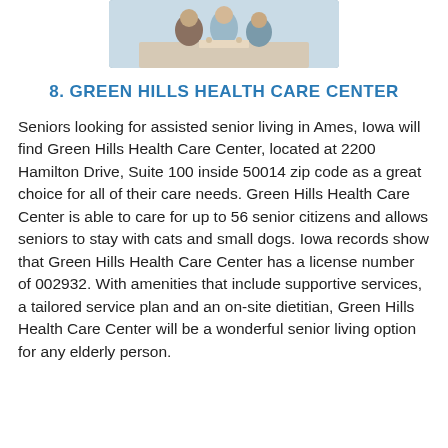[Figure (photo): Photo of elderly seniors gathered together, likely at a care facility or social setting]
8. GREEN HILLS HEALTH CARE CENTER
Seniors looking for assisted senior living in Ames, Iowa will find Green Hills Health Care Center, located at 2200 Hamilton Drive, Suite 100 inside 50014 zip code as a great choice for all of their care needs. Green Hills Health Care Center is able to care for up to 56 senior citizens and allows seniors to stay with cats and small dogs. Iowa records show that Green Hills Health Care Center has a license number of 002932. With amenities that include supportive services, a tailored service plan and an on-site dietitian, Green Hills Health Care Center will be a wonderful senior living option for any elderly person.